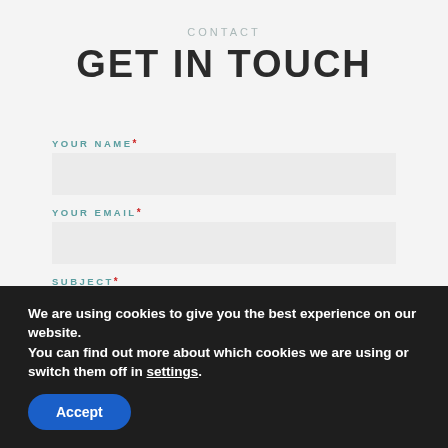CONTACT
GET IN TOUCH
YOUR NAME *
YOUR EMAIL *
SUBJECT *
We are using cookies to give you the best experience on our website.
You can find out more about which cookies we are using or switch them off in settings.
Accept